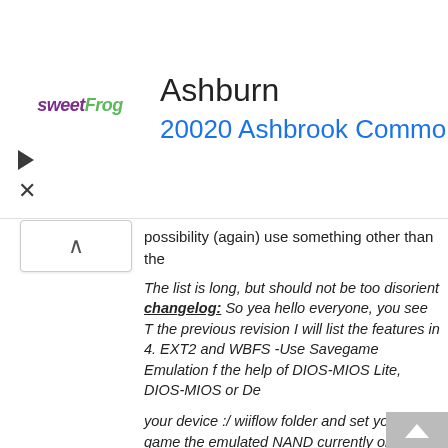[Figure (infographic): Advertisement banner for sweetFrog frozen yogurt showing 'Ashburn' heading and '20020 Ashbrook Commons Pla...' address in blue, with a blue diamond navigation/directions icon on the right, and the sweetFrog logo on the left.]
possibility (again) use something other than the
The list is long, but should not be too disorient changelog: So yea hello everyone, you see T the previous revision I will list the features in 4. EXT2 and WBFS -Use Savegame Emulation f the help of DIOS-MIOS Lite, DIOS-MIOS or De your device :/ wiiflow folder and set your game the emulated NAND currently only works from Homebrew Homebrew Application Which no m Directly from wiiflow thesis using plugins (see t Automatically load and hide 'em, you can crea supported 😁 ID3 -FINALLY, background mus subfolders to find it -A new boot animation, it lo Wii and GameCube games -You can return to Wii games, Gamecube games and emulator ro use only d2x anymore, you can boot wii games Gamecube Homebrew games or Plugin , runs from real NAND, and neek2o Dolphin Emulato a home menu Where you can reload cache, re are significant to mention, They Are a nor